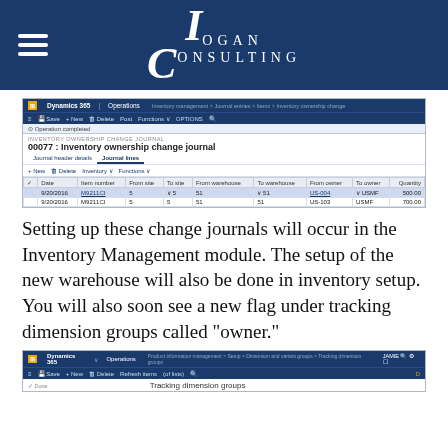[Figure (logo): Logan Consulting logo with LC monogram on dark navy blue background with hamburger menu icon]
[Figure (screenshot): Dynamics 365 Operations - Inventory Ownership Change Journal screen showing journal 00077 with two lines: 9/20/2016 M9211CI from site 5 to site 5, warehouse 51 to 51, US-004 to USMF, qty 500; and 9/20/2016 M9211CI site 5 to 5, warehouse 51 to 51, US-103 to USMF, qty 700]
Setting up these change journals will occur in the Inventory Management module.  The setup of the new warehouse will also be done in inventory setup.  You will also soon see a new flag under tracking dimension groups called “owner.”
[Figure (screenshot): Dynamics 365 Operations - Product information management > Setup > Dimension and variant groups > Tracking dimension groups screen, partially visible showing Tracking dimension groups header]